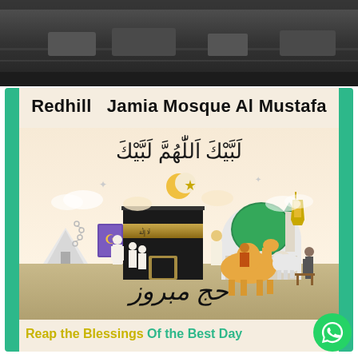[Figure (photo): Top portion showing a dark street/road scene photograph, partially cropped]
Redhill  Jamia Mosque Al Mustafa
[Figure (illustration): Islamic Hajj illustration with Arabic calligraphy 'Labbaik Allahumma Labbaik' at top, showing Kaaba, green-domed mosque, camel, pilgrims, crescent moon, and Arabic 'Hajj Mabroor' text at bottom]
Reap the Blessings Of the Best Day